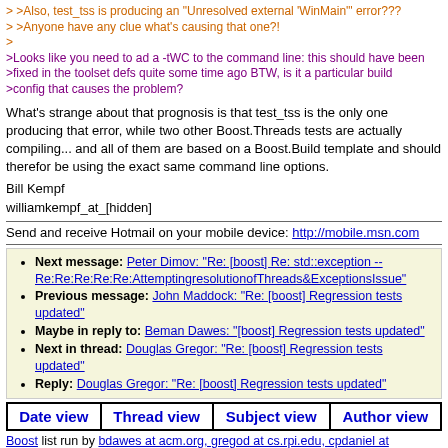> >Also, test_tss is producing an "Unresolved external 'WinMain'" error???
> >Anyone have any clue what's causing that one?!
>
>Looks like you need to ad a -tWC to the command line: this should have been >fixed in the toolset defs quite some time ago BTW, is it a particular build >config that causes the problem?
What's strange about that prognosis is that test_tss is the only one producing that error, while two other Boost.Threads tests are actually compiling... and all of them are based on a Boost.Build template and should therefor be using the exact same command line options.
Bill Kempf
williamkempf_at_[hidden]
Send and receive Hotmail on your mobile device: http://mobile.msn.com
Next message: Peter Dimov: "Re: [boost] Re: std::exception -- Re:Re:Re:Re:Re:AttemptingresolutionofThreads&ExceptionsIssue"
Previous message: John Maddock: "Re: [boost] Regression tests updated"
Maybe in reply to: Beman Dawes: "[boost] Regression tests updated"
Next in thread: Douglas Gregor: "Re: [boost] Regression tests updated"
Reply: Douglas Gregor: "Re: [boost] Regression tests updated"
| Date view | Thread view | Subject view | Author view |
| --- | --- | --- | --- |
Boost list run by bdawes at acm.org, gregod at cs.rpi.edu, cpdaniel at pacbell.net, john at johnmaddock.co.uk